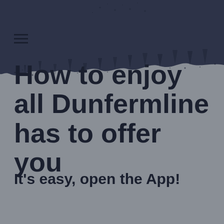[Figure (illustration): Dark navy irregular blob/splash shape in the top-right corner of the page, creating a decorative header background element]
How to enjoy all Dunfermline has to offer you
It's easy, open the App!